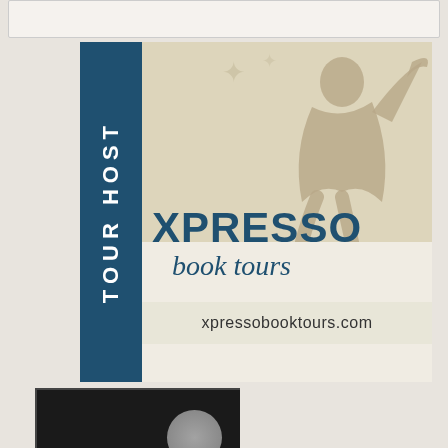[Figure (logo): Xpresso Book Tours Tour Host banner with teal vertical bar reading TOUR HOST, silhouette figure, XPRESSO book tours logo, and xpressobooktours.com URL]
[Figure (logo): I Am A Jean Book [badge] — dark background with moon, trees, and bold text overlay]